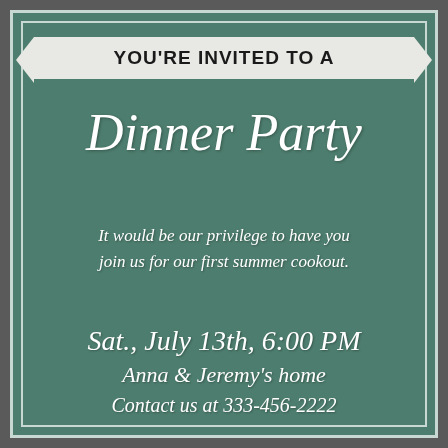YOU'RE INVITED TO A
Dinner Party
It would be our privilege to have you join us for our first summer cookout.
Sat., July 13th, 6:00 PM
Anna & Jeremy's home
Contact us at 333-456-2222